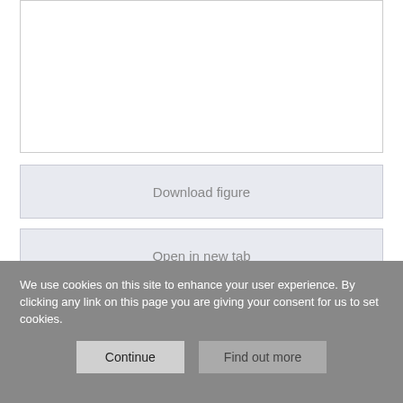[Figure (other): Empty figure placeholder box at the top of the page]
Download figure
Open in new tab
Online Appendix 6 Summary of Findings table of studies of interventions to reduce impact of epidemic outbreaks on mental health of healthcare professionals
We use cookies on this site to enhance your user experience. By clicking any link on this page you are giving your consent for us to set cookies.